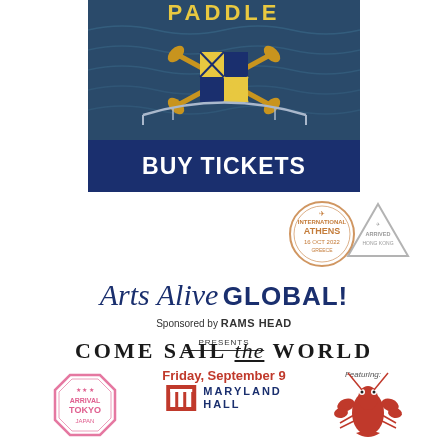[Figure (illustration): Paddle Maryland event image showing water scene with Maryland flag shield logo and crossed paddles, topped with 'PADDLE' text, with a dark blue 'BUY TICKETS' banner below]
[Figure (illustration): Two passport-style travel stamps: an orange circular Athens stamp and a gray triangular Hong Kong arrived stamp]
Arts Alive GLOBAL!
Sponsored by RAMS HEAD PRESENTS
COME SAIL the WORLD
Friday, September 9
[Figure (logo): Maryland Hall logo — red box with white column icons and blue bold text MARYLAND HALL]
[Figure (illustration): Tokyo arrival stamp (pink octagonal)]
[Figure (illustration): Red lobster illustration with 'Featuring:' text above]